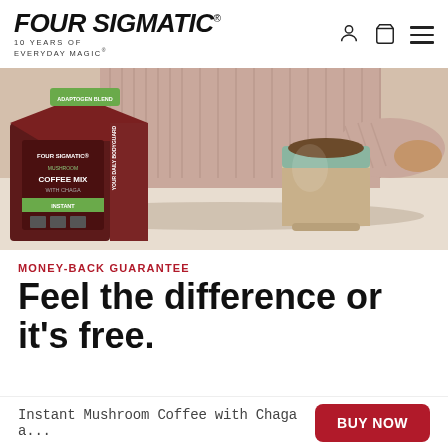[Figure (logo): Four Sigmatic logo with text '10 YEARS OF EVERYDAY MAGIC' and registration mark]
[Figure (photo): Person in pink ribbed sweater reaching toward a handmade ceramic cup on a light surface, with a Four Sigmatic Mushroom Coffee Mix with Chaga box in the foreground]
MONEY-BACK GUARANTEE
Feel the difference or it's free.
Instant Mushroom Coffee with Chaga a...
BUY NOW